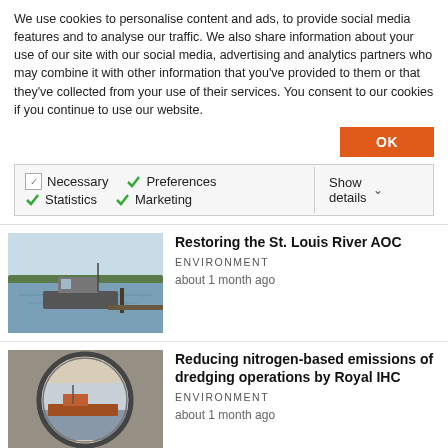We use cookies to personalise content and ads, to provide social media features and to analyse our traffic. We also share information about your use of our site with our social media, advertising and analytics partners who may combine it with other information that you've provided to them or that they've collected from your use of their services. You consent to our cookies if you continue to use our website.
OK
Necessary  Preferences  Statistics  Marketing  Show details
Restoring the St. Louis River AOC
ENVIRONMENT
about 1 month ago
[Figure (photo): Boat on a river with trees in background]
Reducing nitrogen-based emissions of dredging operations by Royal IHC
ENVIRONMENT
about 1 month ago
[Figure (photo): Dredging vessel seen through circular porthole window]
Construction underway in
[Figure (photo): Construction site image partial view]